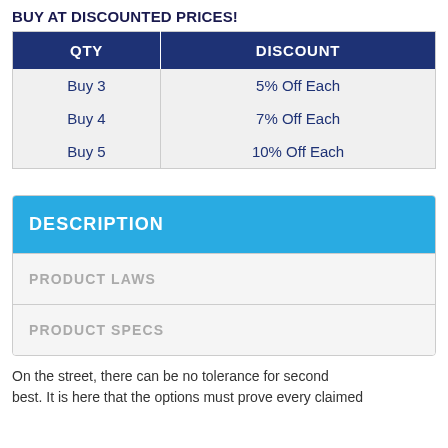BUY AT DISCOUNTED PRICES!
| QTY | DISCOUNT |
| --- | --- |
| Buy 3 | 5% Off Each |
| Buy 4 | 7% Off Each |
| Buy 5 | 10% Off Each |
DESCRIPTION
PRODUCT LAWS
PRODUCT SPECS
On the street, there can be no tolerance for second best. It is here that the options must prove every claimed advantage.